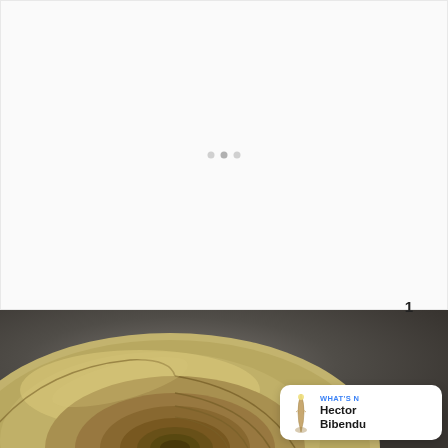[Figure (screenshot): White loading/placeholder area with three small dots (pagination indicators) centered in the middle]
[Figure (photo): Photograph of a nautilus shell cross-section on a dark grey background, showing the golden spiral chambers]
[Figure (other): Blue circular like button with heart icon, showing count of 1 below it, and a blue circular share button with share icon]
1
WHAT'S N... Hector Bibendu...